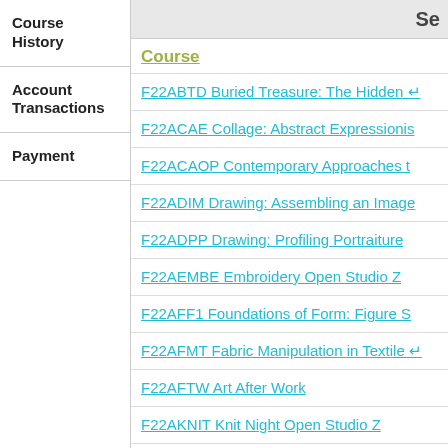Se
Course History
Account Transactions
Payment
Course
F22ABTD Buried Treasure: The Hidden
F22ACAE Collage: Abstract Expressionis
F22ACAOP Contemporary Approaches t
F22ADIM Drawing: Assembling an Image
F22ADPP Drawing: Profiling Portraiture
F22AEMBE Embroidery Open Studio Z
F22AFF1 Foundations of Form: Figure S
F22AFMT Fabric Manipulation in Textile
F22AFTW Art After Work
F22AKNIT Knit Night Open Studio Z
F22AMYT Mythology and Methodology
F22APARC Painting in Abstract, Emotion
F22APIA Painting: Introduction to Acrylic